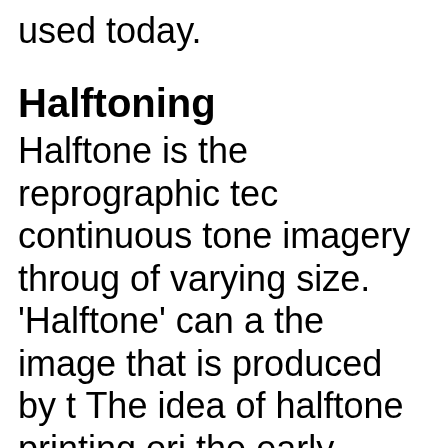used today.
Halftoning
Halftone is the reprographic tec continuous tone imagery throug of varying size. 'Halftone' can a the image that is produced by t The idea of halftone printing ori the early 1850s he suggested u veils" in connection with a phot Several different kinds of scree following decades, but the first was invented by Canadians G